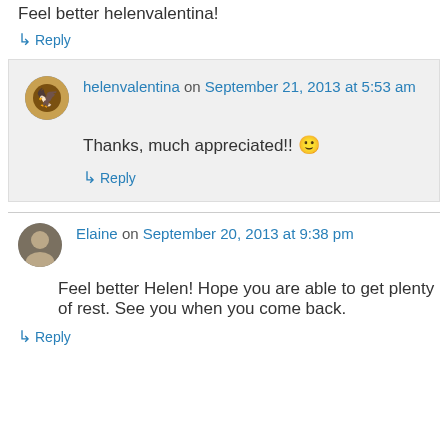Feel better helenvalentina!
↳ Reply
helenvalentina on September 21, 2013 at 5:53 am
Thanks, much appreciated!! 🙂
↳ Reply
Elaine on September 20, 2013 at 9:38 pm
Feel better Helen! Hope you are able to get plenty of rest. See you when you come back.
↳ Reply